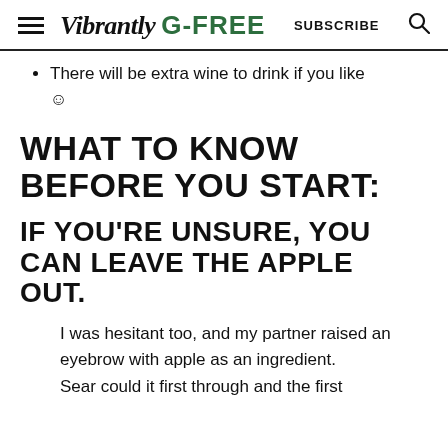Vibrantly G-FREE  SUBSCRIBE
There will be extra wine to drink if you like ☺
WHAT TO KNOW BEFORE YOU START:
IF YOU'RE UNSURE, YOU CAN LEAVE THE APPLE OUT.
I was hesitant too, and my partner raised an eyebrow with apple as an ingredient. Sear...